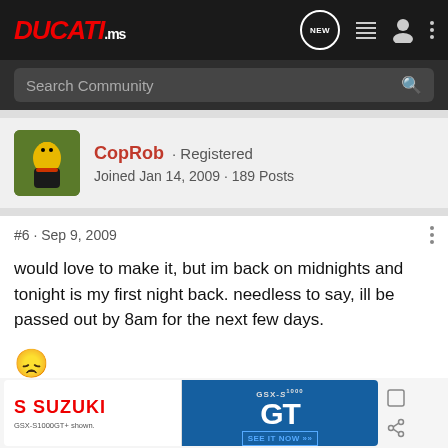DUCATI.ms — navigation bar with NEW, list, user, more icons and Search Community bar
[Figure (screenshot): User profile avatar thumbnail showing a motorcyclist in yellow gear on a blue motorcycle]
CopRob · Registered
Joined Jan 14, 2009 · 189 Posts
#6 · Sep 9, 2009
would love to make it, but im back on midnights and tonight is my first night back. needless to say, ill be passed out by 8am for the next few days.
🙁
rob
[Figure (photo): Suzuki GSX-S1000GT advertisement banner with blue background, motorcycle image, and SEE IT NOW text]